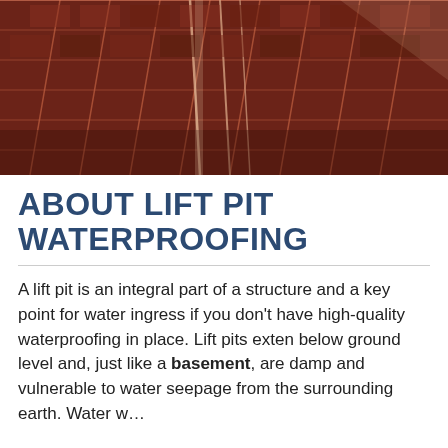[Figure (photo): Aerial or close-up architectural photo showing a reddish-brown geometric building structure with repetitive grid-like panels and diagonal lines, viewed from an angle.]
ABOUT LIFT PIT WATERPROOFING
A lift pit is an integral part of a structure and a key point for water ingress if you don't have high-quality waterproofing in place. Lift pits extend below ground level and, just like a basement, are damp and vulnerable to water seepage from the surrounding earth. Water w...